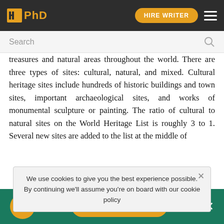IIPhD | HIRE WRITER
Search
treasures and natural areas throughout the world. There are three types of sites: cultural, natural, and mixed. Cultural heritage sites include hundreds of historic buildings and town sites, important archaeological sites, and works of monumental sculpture or painting. The ratio of cultural to natural sites on the World Heritage List is roughly 3 to 1. Several new sites are added to the list at the middle of each... World Heritage designations often boost local economies by encouraging tourism; in addition, UNESCO funds numerous efforts to preserve and
We use cookies to give you the best experience possible. By continuing we'll assume you're on board with our cookie policy
HIRE WRITER